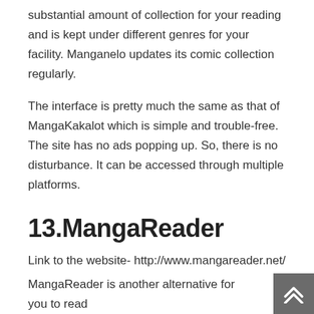substantial amount of collection for your reading and is kept under different genres for your facility. Manganelo updates its comic collection regularly.
The interface is pretty much the same as that of MangaKakalot which is simple and trouble-free. The site has no ads popping up. So, there is no disturbance. It can be accessed through multiple platforms.
13.MangaReader
Link to the website- http://www.mangareader.net/
MangaReader is another alternative for you to read